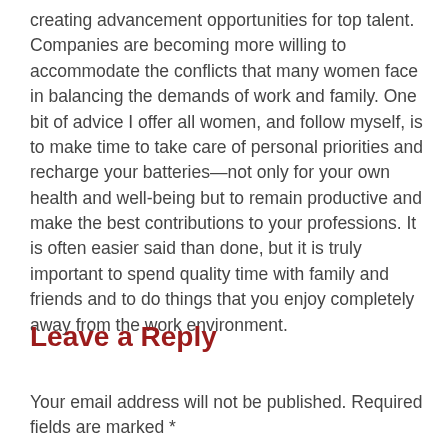creating advancement opportunities for top talent. Companies are becoming more willing to accommodate the conflicts that many women face in balancing the demands of work and family. One bit of advice I offer all women, and follow myself, is to make time to take care of personal priorities and recharge your batteries—not only for your own health and well-being but to remain productive and make the best contributions to your professions. It is often easier said than done, but it is truly important to spend quality time with family and friends and to do things that you enjoy completely away from the work environment.
Leave a Reply
Your email address will not be published. Required fields are marked *